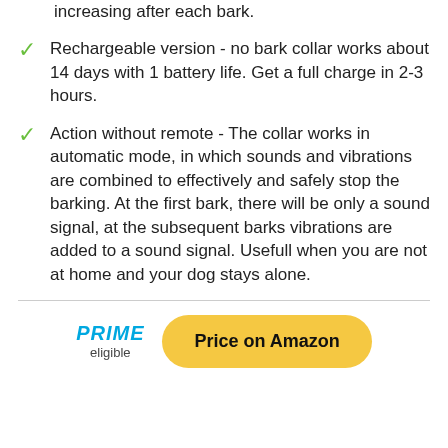increasing after each bark.
Rechargeable version - no bark collar works about 14 days with 1 battery life. Get a full charge in 2-3 hours.
Action without remote - The collar works in automatic mode, in which sounds and vibrations are combined to effectively and safely stop the barking. At the first bark, there will be only a sound signal, at the subsequent barks vibrations are added to a sound signal. Usefull when you are not at home and your dog stays alone.
PRIME eligible
Price on Amazon